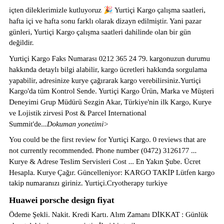içten dileklerimizle kutluyoruz 🎉 Yurtiçi Kargo çalışma saatleri, hafta içi ve hafta sonu farklı olarak dizayn edilmiştir. Yani pazar günleri, Yurtiçi Kargo çalışma saatleri dahilinde olan bir gün değildir.
Yurtiçi Kargo Faks Numarası 0212 365 24 79. kargonuzun durumu hakkında detaylı bilgi alabilir, kargo ücretleri hakkında sorgulama yapabilir, adresinize kurye çağırarak kargo verebilirsiniz.Yurtiçi Kargo'da tüm Kontrol Sende. Yurtiçi Kargo Ürün, Marka ve Müşteri Deneyimi Grup Müdürü Sezgin Akar, Türkiye'nin ilk Kargo, Kurye ve Lojistik zirvesi Post & Parcel International Summit'de...Dokuman yonetimi>
You could be the first review for Yurtiçi Kargo. 0 reviews that are not currently recommended. Phone number (0472) 3126177 ... Kurye & Adrese Teslim Servisleri Cost ... En Yakın Şube. Ücret Hesapla. Kurye Çağır. Güncelleniyor: KARGO TAKİP Lütfen kargo takip numaranızı giriniz. Yurtiçi.Cryotherapy turkiye
Huawei porsche design fiyat
Ödeme Şekli. Nakit. Kredi Kartı. Alım Zamanı DİKKAT : Günlük alım talebimiz sonra ermiştir. İleri bir tarihe rezervasyon yapabilirsiniz. Rezervasyon. Rezervasyon Tarihi. Rezervasyon Saati. Paket Tipi. Yurtiçi Kargo Kurye Talebi - Merhabalar. 00/00/2015 tarihinde sitemize internet ortamı üzerinden...